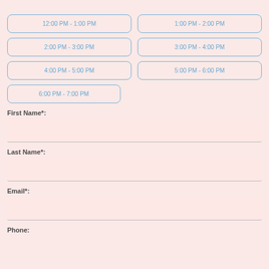12:00 PM - 1:00 PM
1:00 PM - 2:00 PM
2:00 PM - 3:00 PM
3:00 PM - 4:00 PM
4:00 PM - 5:00 PM
5:00 PM - 6:00 PM
6:00 PM - 7:00 PM
First Name*:
Last Name*:
Email*:
Phone: